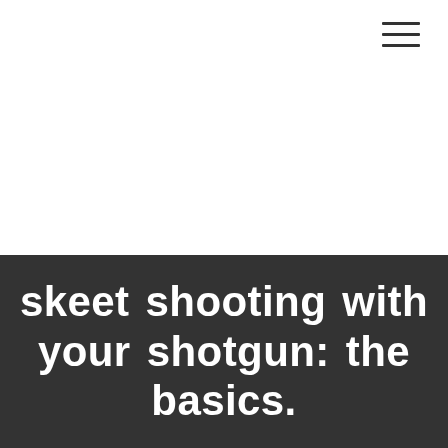[Figure (other): Hamburger menu icon with three horizontal lines in top right corner]
skeet shooting with your shotgun: the basics.